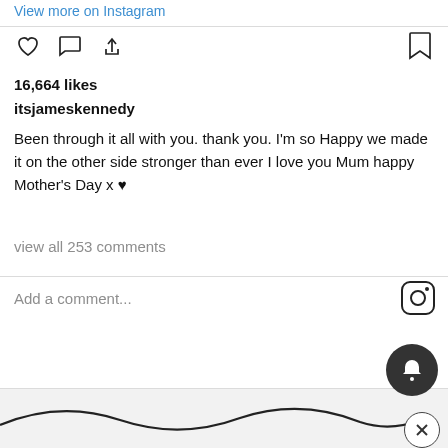View more on Instagram
[Figure (screenshot): Instagram action bar with heart (like), comment bubble, share icons on left and bookmark icon on right]
16,664 likes
itsjameskennedy
Been through it all with you. thank you. I'm so Happy we made it on the other side stronger than ever I love you Mum happy Mother's Day x ♥
view all 253 comments
Add a comment...
[Figure (logo): Instagram camera logo icon]
[Figure (other): Dark notification bell button circle]
[Figure (other): Close X button circle and wave decoration]